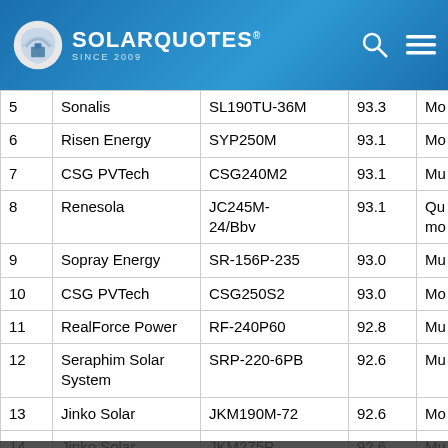SolarQuotes — Since 2009
| # | Brand | Model | Score | Type |
| --- | --- | --- | --- | --- |
| 5 | Sonalis | SL190TU-36M | 93.3 | Mo... |
| 6 | Risen Energy | SYP250M | 93.1 | Mo... |
| 7 | CSG PVTech | CSG240M2 | 93.1 | Mu... |
| 8 | Renesola | JC245M-24/Bbv | 93.1 | Qu... mo... |
| 9 | Sopray Energy | SR-156P-235 | 93.0 | Mu... |
| 10 | CSG PVTech | CSG250S2 | 93.0 | Mo... |
| 11 | RealForce Power | RF-240P60 | 92.8 | Mu... |
| 12 | Seraphim Solar System | SRP-220-6PB | 92.6 | Mu... |
| 13 | Jinko Solar | JKM190M-72 | 92.6 | Mo... |
| 14 | Jinko Solar | JKM275P | 92.6 | Mu... |
| 15 | Siliken | SLK60P6L 230Wp | 92.4 | Mu... |
| 16 | ET... | ...0 | 92.2 | Mo... |
| 17 | JA... |  |  |  |
WE CAREFULLY PRE-VET ALL OF OUR INSTALLERS AND YOUR QUOTES ARE ZERO-OBLIGATION